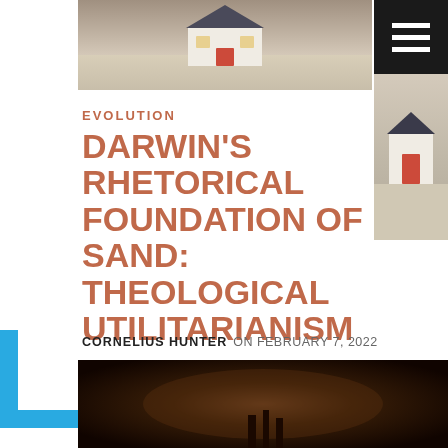[Figure (photo): Top header photo of a miniature house model sitting on sand, partial view]
[Figure (photo): Hamburger/navigation menu icon — three white horizontal lines on black background]
[Figure (photo): Small right-side thumbnail photo, partial view of house on sand]
EVOLUTION
DARWIN'S RHETORICAL FOUNDATION OF SAND: THEOLOGICAL UTILITARIANISM
CORNELIUS HUNTER  ON FEBRUARY 7, 2022
[Figure (photo): Bottom partial photo with dark warm tones, appears to show a silhouetted scene]